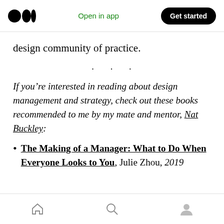Medium logo | Open in app | Get started
design community of practice.
· · ·
If you're interested in reading about design management and strategy, check out these books recommended to me by my mate and mentor, Nat Buckley:
The Making of a Manager: What to Do When Everyone Looks to You, Julie Zhou, 2019
Home | Search | Profile